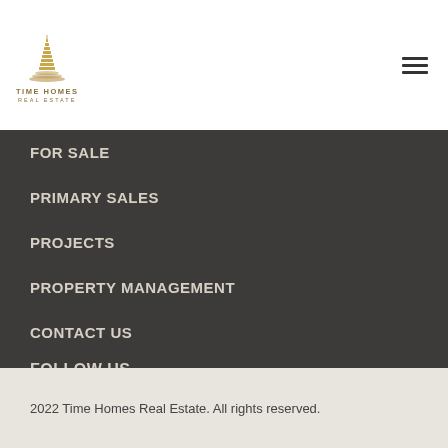[Figure (logo): Time Homes Real Estate logo — stylized building/tower in gold/beige tones with text TIME HOMES REAL ESTATE below]
FOR SALE
PRIMARY SALES
PROJECTS
PROPERTY MANAGEMENT
CONTACT US
FOLLOW US
[Figure (illustration): Five social media icons in white circles on dark background: Facebook, Twitter, Instagram, LinkedIn, YouTube]
2022 Time Homes Real Estate. All rights reserved.